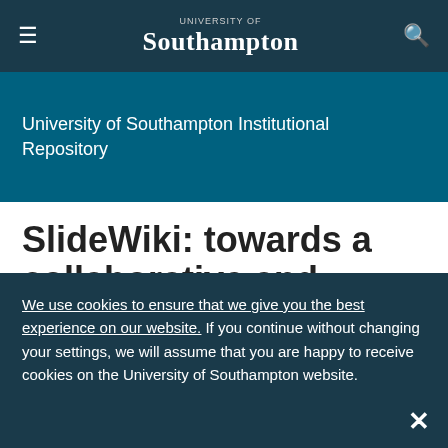University of Southampton — navigation bar with hamburger menu, logo, and search icon
University of Southampton Institutional Repository
SlideWiki: towards a collaborative and accessible platform for slide
We use cookies to ensure that we give you the best experience on our website. If you continue without changing your settings, we will assume that you are happy to receive cookies on the University of Southampton website.